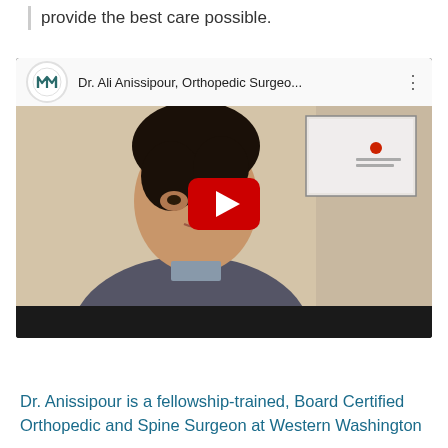provide the best care possible.
[Figure (screenshot): YouTube video thumbnail showing Dr. Ali Anissipour, Orthopedic Surgeon, with a play button overlay. A man in a blazer is shown speaking, with a framed item visible in the background. The video player interface shows the channel logo, title 'Dr. Ali Anissipour, Orthopedic Surgeo...' and three-dot menu.]
Dr. Anissipour is a fellowship-trained, Board Certified Orthopedic and Spine Surgeon at Western Washington